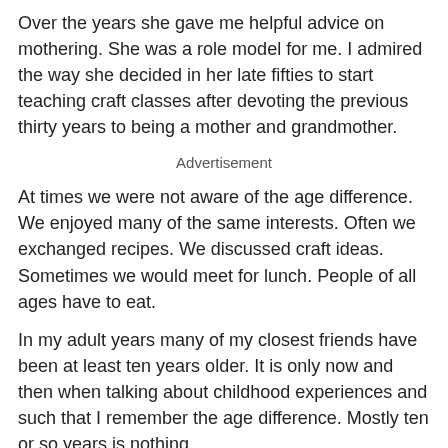Over the years she gave me helpful advice on mothering. She was a role model for me. I admired the way she decided in her late fifties to start teaching craft classes after devoting the previous thirty years to being a mother and grandmother.
Advertisement
At times we were not aware of the age difference. We enjoyed many of the same interests. Often we exchanged recipes. We discussed craft ideas. Sometimes we would meet for lunch. People of all ages have to eat.
In my adult years many of my closest friends have been at least ten years older. It is only now and then when talking about childhood experiences and such that I remember the age difference. Mostly ten or so years is nothing.
Now that I am middle aged I find some of my friends are at least ten years younger than me. Whereas a ten year age gap made a lot of difference when I was in my early twenties, it is insignificant now.
Advertisement
When I started teaching at the age of twenty one, some of my